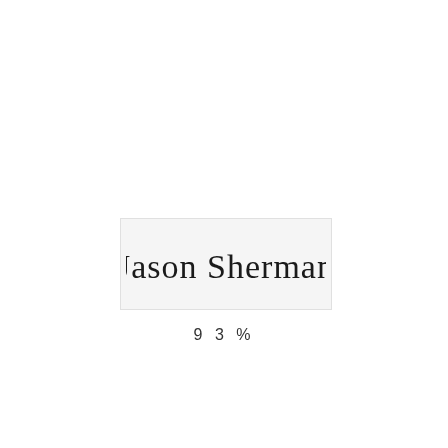[Figure (other): A handwritten cursive signature reading 'Jason Sherman' on a light grey rectangular background]
93%